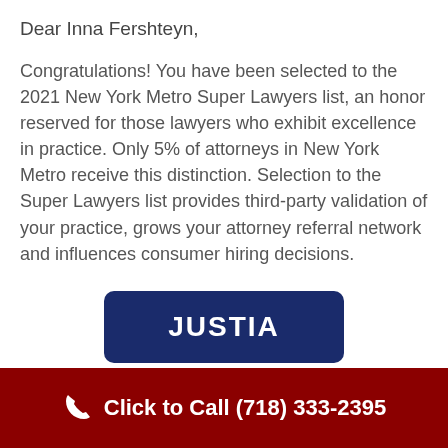Dear Inna Fershteyn,
Congratulations! You have been selected to the 2021 New York Metro Super Lawyers list, an honor reserved for those lawyers who exhibit excellence in practice. Only 5% of attorneys in New York Metro receive this distinction. Selection to the Super Lawyers list provides third-party validation of your practice, grows your attorney referral network and influences consumer hiring decisions.
[Figure (logo): Justia logo — white text on dark navy blue rounded rectangle background]
Click to Call (718) 333-2395